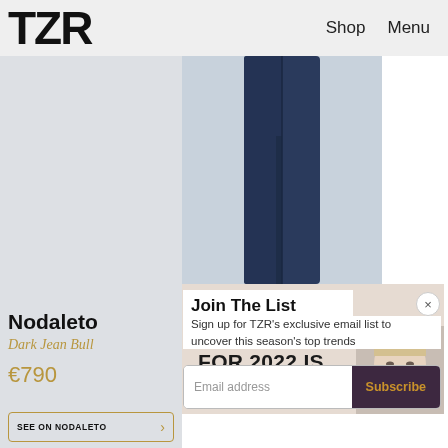TZR  Shop  Menu
[Figure (photo): Lower body/jeans product photo on grey-blue background]
[Figure (photo): Promotional banner: AND THE #1 HAIRCUT FOR 2022 IS... with woman's face]
Join The List
Sign up for TZR's exclusive email list to uncover this season's top trends
Email address   Subscribe
Nodaleto
Dark Jean Bull
€790
SEE ON NODALETO →